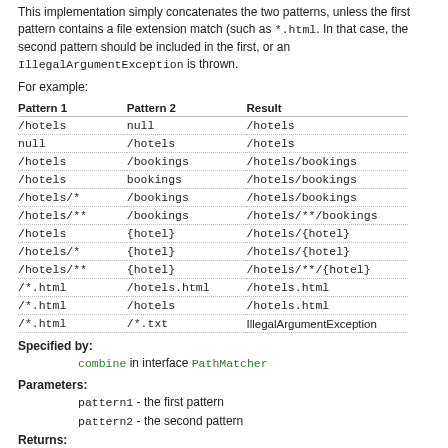This implementation simply concatenates the two patterns, unless the first pattern contains a file extension match (such as *.html. In that case, the second pattern should be included in the first, or an IllegalArgumentException is thrown.
For example:
| Pattern 1 | Pattern 2 | Result |
| --- | --- | --- |
| /hotels | null | /hotels |
| null | /hotels | /hotels |
| /hotels | /bookings | /hotels/bookings |
| /hotels | bookings | /hotels/bookings |
| /hotels/* | /bookings | /hotels/bookings |
| /hotels/** | /bookings | /hotels/**/bookings |
| /hotels | {hotel} | /hotels/{hotel} |
| /hotels/* | {hotel} | /hotels/{hotel} |
| /hotels/** | {hotel} | /hotels/**/{hotel} |
| /*.html | /hotels.html | /hotels.html |
| /*.html | /hotels | /hotels.html |
| /*.html | /*.txt | IllegalArgumentException |
Specified by:
combine in interface PathMatcher
Parameters:
pattern1 - the first pattern
pattern2 - the second pattern
Returns: